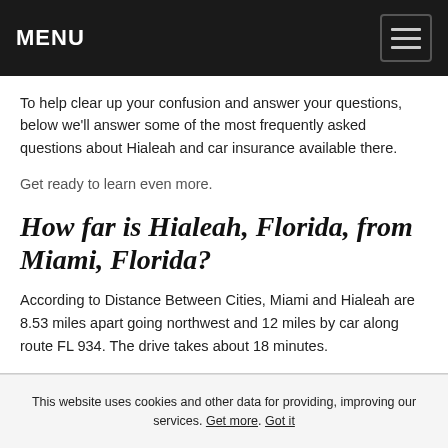MENU
To help clear up your confusion and answer your questions, below we'll answer some of the most frequently asked questions about Hialeah and car insurance available there.
Get ready to learn even more.
How far is Hialeah, Florida, from Miami, Florida?
According to Distance Between Cities, Miami and Hialeah are 8.53 miles apart going northwest and 12 miles by car along route FL 934. The drive takes about 18 minutes.
This website uses cookies and other data for providing, improving our services. Get more. Got it